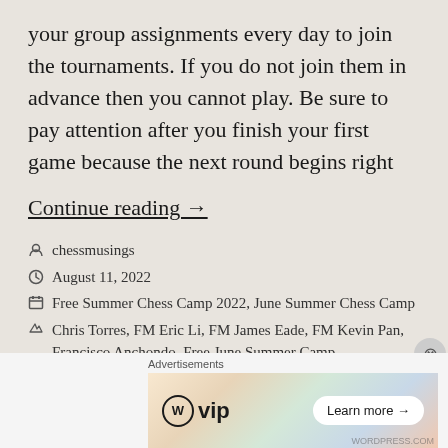your group assignments every day to join the tournaments. If you do not join them in advance then you cannot play. Be sure to pay attention after you finish your first game because the next round begins right
Continue reading →
chessmusings
August 11, 2022
Free Summer Chess Camp 2022, June Summer Chess Camp
Chris Torres, FM Eric Li, FM James Eade, FM Kevin Pan, Francisco Anchondo, Free June Summer Camp, Free Online Camp, Free Online Summer Camp,
[Figure (other): Advertisement banner for WordPress VIP with colorful background showing map and social media icons, with Learn more button]